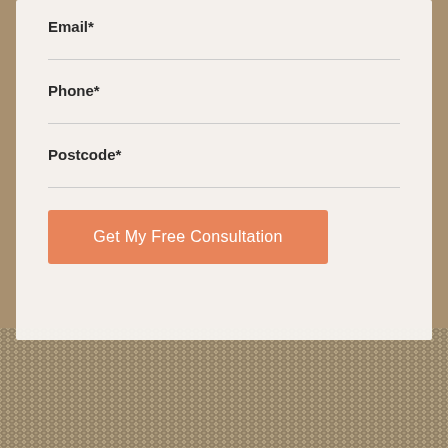Email*
Phone*
Postcode*
Get My Free Consultation